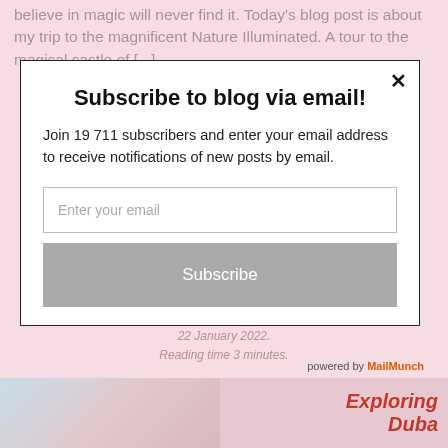believe in magic will never find it. Today's blog post is about my trip to the magnificent Nature Illuminated. A tour to the magical castle of [...]
Subscribe to blog via email!
Join 19 711 subscribers and enter your email address to receive notifications of new posts by email.
Enter your email
Subscribe
powered by MailMunch
22 January 2022.
Reading time 3 minutes.
Exploring
Dubai